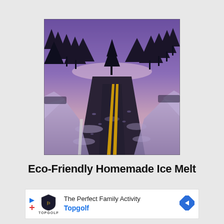[Figure (photo): A snowy road curving into the distance through a dark pine forest under a purple twilight sky, with yellow double center lines visible and snow on the road shoulders.]
Eco-Friendly Homemade Ice Melt
The Perfect Family Activity Topgolf